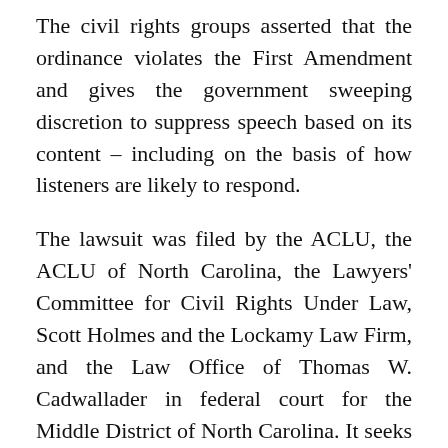The civil rights groups asserted that the ordinance violates the First Amendment and gives the government sweeping discretion to suppress speech based on its content – including on the basis of how listeners are likely to respond.
The lawsuit was filed by the ACLU, the ACLU of North Carolina, the Lawyers' Committee for Civil Rights Under Law, Scott Holmes and the Lockamy Law Firm, and the Law Office of Thomas W. Cadwallader in federal court for the Middle District of North Carolina. It seeks preliminary relief blocking the city from implementing the order while the underlying First Amendment challenge proceeds.